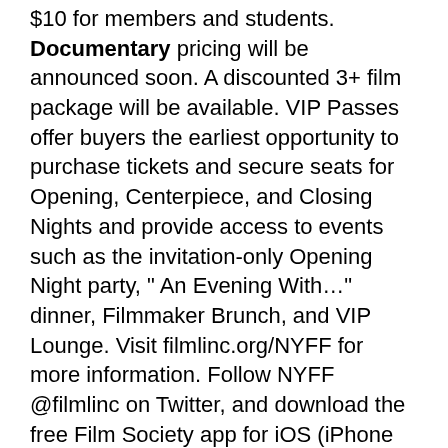$10 for members and students. Documentary pricing will be announced soon. A discounted 3+ film package will be available. VIP Passes offer buyers the earliest opportunity to purchase tickets and secure seats for Opening, Centerpiece, and Closing Nights and provide access to events such as the invitation-only Opening Night party, " An Evening With…" dinner, Filmmaker Brunch, and VIP Lounge. Visit filmlinc.org/NYFF for more information. Follow NYFF @filmlinc on Twitter, and download the free Film Society app for iOS (iPhone and iPad) and Android devices.
Support for the New York Film Festival is also generously provided by Jaeger-LeCoultre, FIJI Water, KIND Bars, Portage World Wide Inc., WABC-7, and WNET New York Public Media.
Follow Us on Facebook and Twitter